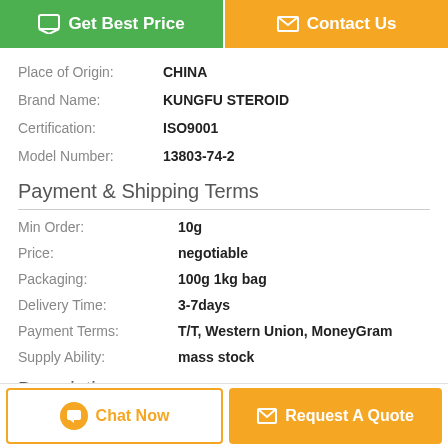[Figure (other): Green 'Get Best Price' button with chat icon and orange 'Contact Us' button with envelope icon]
| Place of Origin: | CHINA |
| Brand Name: | KUNGFU STEROID |
| Certification: | ISO9001 |
| Model Number: | 13803-74-2 |
Payment & Shipping Terms
| Min Order: | 10g |
| Price: | negotiable |
| Packaging: | 100g 1kg bag |
| Delivery Time: | 3-7days |
| Payment Terms: | T/T, Western Union, MoneyGram |
| Supply Ability: | mass stock |
Description
[Figure (other): Bottom bar with 'Chat Now' button (orange border) and 'Request A Quote' button (orange fill)]